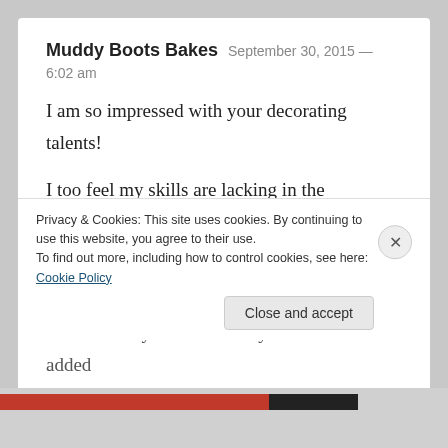Muddy Boots Bakes  September 30, 2015 — 6:02 am
I am so impressed with your decorating talents!

I too feel my skills are lacking in the decorating area so what a great way to spend an evening (and a good excuse to leave work on time too!)

It looks like you had a lovely time and the added
Privacy & Cookies: This site uses cookies. By continuing to use this website, you agree to their use.
To find out more, including how to control cookies, see here: Cookie Policy